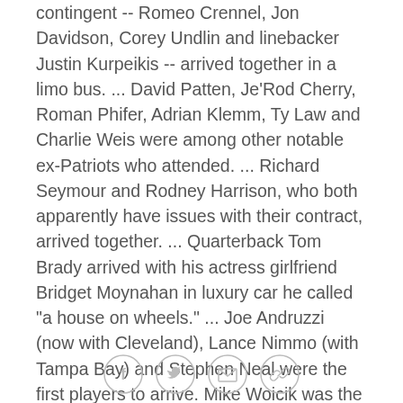contingent -- Romeo Crennel, Jon Davidson, Corey Undlin and linebacker Justin Kurpeikis -- arrived together in a limo bus. ... David Patten, Je'Rod Cherry, Roman Phifer, Adrian Klemm, Ty Law and Charlie Weis were among other notable ex-Patriots who attended. ... Richard Seymour and Rodney Harrison, who both apparently have issues with their contract, arrived together. ... Quarterback Tom Brady arrived with his actress girlfriend Bridget Moynahan in luxury car he called "a house on wheels." ... Joe Andruzzi (now with Cleveland), Lance Nimmo (with Tampa Bay) and Stephen Neal were the first players to arrive. Mike Woicik was the first coach. ... Matt Light, Lonnie Paxton, Dan Koppen, Russ Hochstein, Matt Chatham, Mike Vrabel, Tedy Bruschi and Tom Ashworth arrived in an RV, John Madden-type bus. ... Tyrone Poole had the most humble vehicle among the players, arriving in his
[Figure (other): Social media sharing icons: Facebook, Twitter, Email, Link]